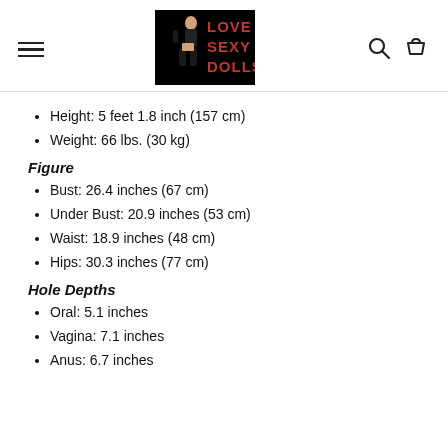Love Sexy Dolls - navigation header with menu, logo, search and cart icons
Height: 5 feet 1.8 inch (157 cm)
Weight: 66 lbs. (30 kg)
Figure
Bust: 26.4 inches (67 cm)
Under Bust: 20.9 inches (53 cm)
Waist: 18.9 inches (48 cm)
Hips: 30.3 inches (77 cm)
Hole Depths
Oral: 5.1 inches
Vagina: 7.1 inches
Anus: 6.7 inches